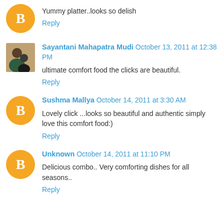Yummy platter..looks so delish
Reply
Sayantani Mahapatra Mudi  October 13, 2011 at 12:38 PM
ultimate comfort food the clicks are beautiful.
Reply
Sushma Mallya  October 14, 2011 at 3:30 AM
Lovely click ...looks so beautiful and authentic simply love this comfort food:)
Reply
Unknown  October 14, 2011 at 11:10 PM
Delicious combo.. Very comforting dishes for all seasons..
Reply